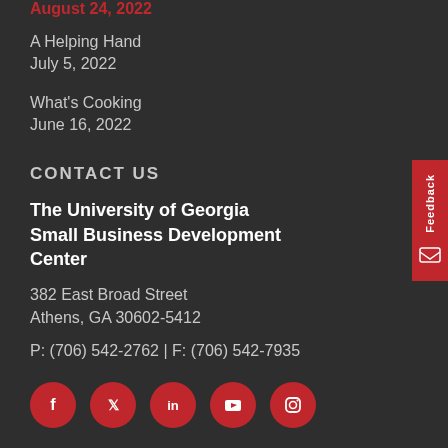August 24, 2022 (partial, truncated at top)
A Helping Hand
July 5, 2022
What's Cooking
June 16, 2022
CONTACT US
The University of Georgia Small Business Development Center
382 East Broad Street
Athens, GA 30602-5412
P: (706) 542-2762 | F: (706) 542-7935
[Figure (infographic): Five red circular social media icons: Facebook, Twitter, LinkedIn, YouTube, Instagram]